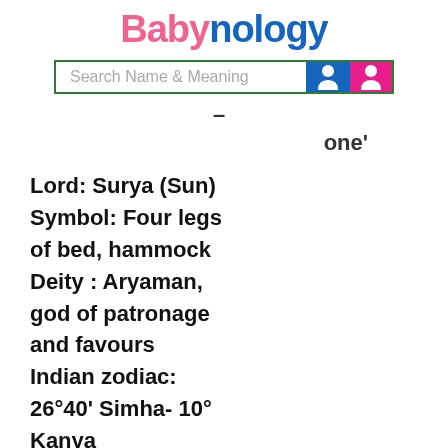Babynology
[Figure (screenshot): Search bar with text 'Search Name & Meaning' and blue boy icon and pink girl icon]
– one'
Lord: Surya (Sun) Symbol: Four legs of bed, hammock Deity : Aryaman, god of patronage and favours Indian zodiac: 26°40' Simha- 10° Kanya Western zodiac 22°40' Virgo - 6° Libra
Other name options, having Uttara